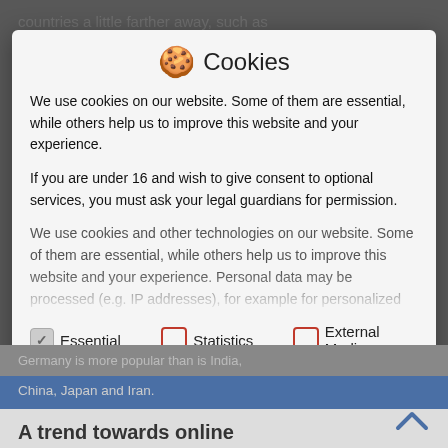countries a little farther away, such as Russia, democracy has no university in
🍪 Cookies
We use cookies on our website. Some of them are essential, while others help us to improve this website and your experience.
If you are under 16 and wish to give consent to optional services, you must ask your legal guardians for permission.
We use cookies and other technologies on our website. Some of them are essential, while others help us to improve this website and your experience. Personal data may be processed (e.g. IP addresses), for example for personalized ads and content or ad and content measurement. You can find more information about the use of your data in our
Essential  Statistics  External Media
China, Japan and Iran.
A trend towards online